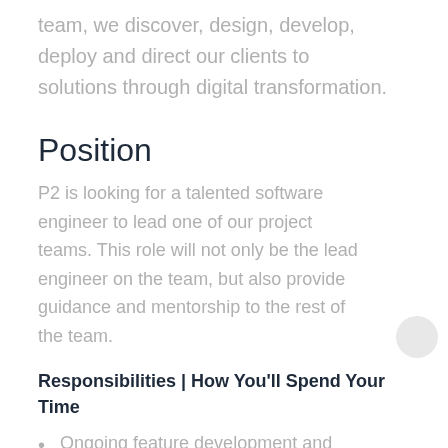team, we discover, design, develop, deploy and direct our clients to solutions through digital transformation.
Position
P2 is looking for a talented software engineer to lead one of our project teams. This role will not only be the lead engineer on the team, but also provide guidance and mentorship to the rest of the team.
Responsibilities | How You'll Spend Your Time
Ongoing feature development and